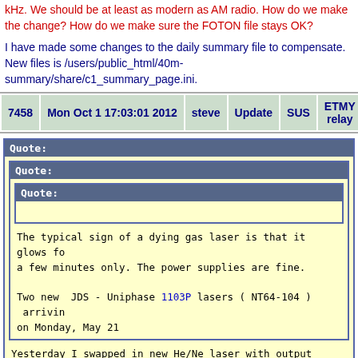kHz. We should be at least as modern as AM radio. How do we make the change? How do we make sure the FOTON file stays OK?
I have made some changes to the daily summary file to compensate. New files is /users/public_html/40m-summary/share/c1_summary_page.ini.
| 7458 | Mon Oct 1 17:03:01 2012 | steve | Update | SUS | ETMY relay |
| --- | --- | --- | --- | --- | --- |
Quote: Quote: Quote: The typical sign of a dying gas laser is that it glows for a few minutes only. The power supplies are fine. Two new JDS - Uniphase 1103P lasers ( NT64-104 ) arriving on Monday, May 21 Yesterday I swapped in new He/Ne laser with output power 3 mW The return spot on qpd is large ~6mm in diameter and 20,500 counts The spot size reduction require similar layout as ETMX ople